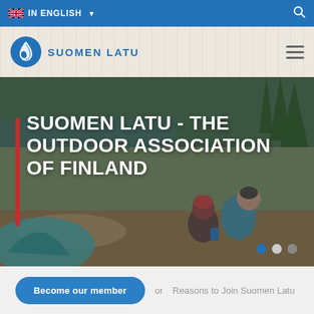IN ENGLISH
[Figure (logo): Suomen Latu logo with droplet/flame icon in blue]
SUOMEN LATU - THE OUTDOOR ASSOCIATION OF FINLAND
[Figure (photo): Two people sitting outdoors near a lake with trees, camping gear, and a tent in the foreground]
Become our member
or
Reasons to Join Suomen Latu